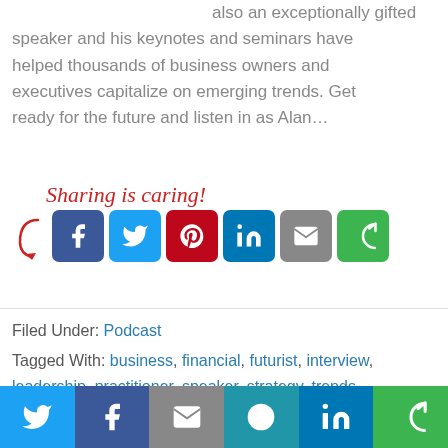also an exceptionally gifted speaker and his keynotes and seminars have helped thousands of business owners and executives capitalize on emerging trends. Get ready for the future and listen in as Alan...
[Figure (infographic): Sharing is caring! social share buttons: Facebook, Twitter, Pinterest, LinkedIn, Email, More (green circular arrows)]
Filed Under: Podcast
Tagged With: business, financial, futurist, interview, leadership, practitioner, speaker, strategy, trends
[Figure (infographic): Bottom share bar with Twitter, Facebook, Email, SMS, LinkedIn, and More buttons]